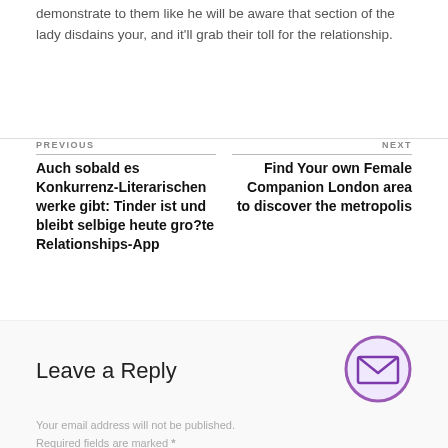Even in the event he may never say they, if she will not demonstrate to them like he will be aware that section of the lady disdains your, and it'll grab their toll for the relationship.
PREVIOUS
Auch sobald es Konkurrenz-Literarischen werke gibt: Tinder ist und bleibt selbige heute gro?te Relationships-App
NEXT
Find Your own Female Companion London area to discover the metropolis
Leave a Reply
Your email address will not be published. Required fields are marked *